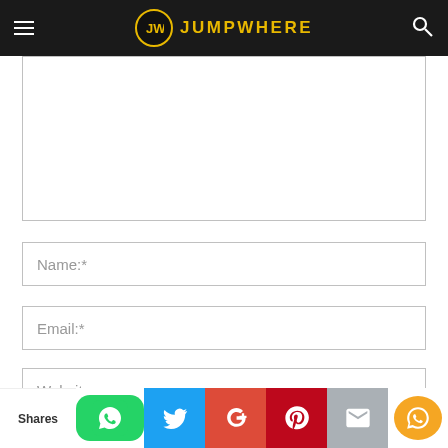JUMPWHERE
Name:*
Email:*
Website:
POST COMMENT
Shares